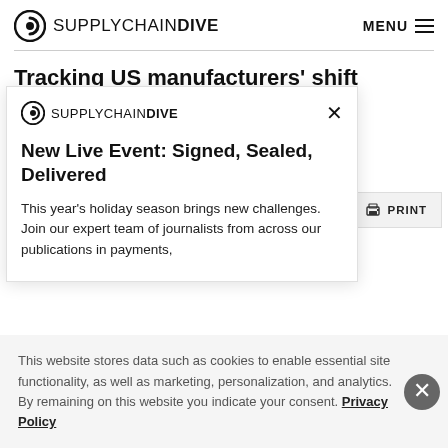SUPPLYCHAINDIVE   MENU
Tracking US manufacturers' shift toward PPE
[Figure (screenshot): Modal popup with Supply Chain Dive logo, close button (×), title 'New Live Event: Signed, Sealed, Delivered', and text about holiday season event]
New Live Event: Signed, Sealed, Delivered
This year's holiday season brings new challenges. Join our expert team of journalists from across our publications in payments,
This website stores data such as cookies to enable essential site functionality, as well as marketing, personalization, and analytics. By remaining on this website you indicate your consent. Privacy Policy